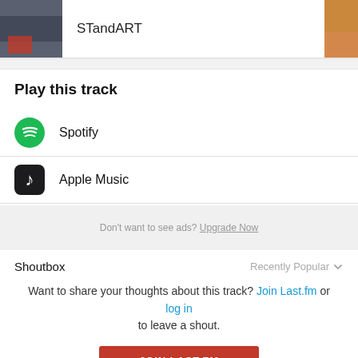STandART
Play this track
Spotify
Apple Music
Don't want to see ads? Upgrade Now
Shoutbox
Recently Popular
Want to share your thoughts about this track? Join Last.fm or log in to leave a shout.
JOIN LAST.FM